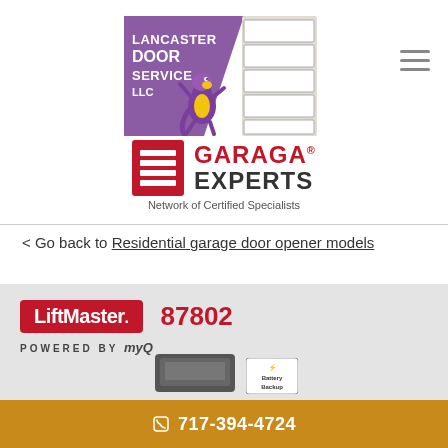[Figure (logo): Lancaster Door Service LLC logo with purple dragon mascot holding a garage door panel]
[Figure (logo): Garaga Experts - Network of Certified Specialists logo with red icon]
< Go back to Residential garage door opener models
[Figure (screenshot): LiftMaster 87802 product banner on grey background, powered by myQ, with garage door opener image and Battery Backup badge]
717-394-4724